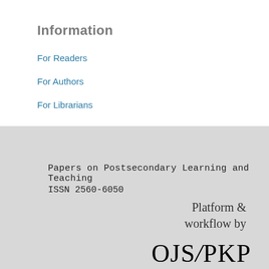Information
For Readers
For Authors
For Librarians
Papers on Postsecondary Learning and Teaching
ISSN 2560-6050
Platform & workflow by
OJS/PKP